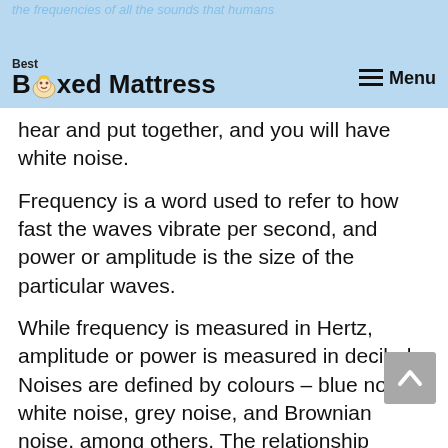Best Boxed Mattress — Menu
hear and put together, and you will have white noise.
Frequency is a word used to refer to how fast the waves vibrate per second, and power or amplitude is the size of the particular waves.
While frequency is measured in Hertz, amplitude or power is measured in decibels. Noises are defined by colours – blue noise, white noise, grey noise, and Brownian noise, among others. The relationship between amplitude and frequency...